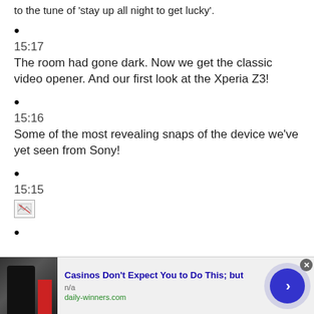to the tune of 'stay up all night to get lucky'.
15:17
The room had gone dark. Now we get the classic video opener. And our first look at the Xperia Z3!
15:16
Some of the most revealing snaps of the device we've yet seen from Sony!
15:15
[broken image]
[Figure (other): Advertisement banner: 'Casinos Don't Expect You to Do This; but' from daily-winners.com with n/a label, showing a person in dark clothing thumbnail on left and a blue circle arrow button on right]